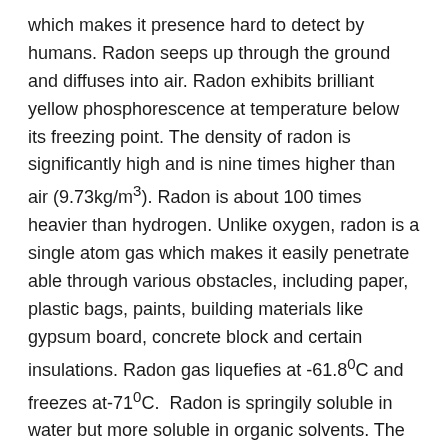which makes it presence hard to detect by humans. Radon seeps up through the ground and diffuses into air. Radon exhibits brilliant yellow phosphorescence at temperature below its freezing point. The density of radon is significantly high and is nine times higher than air (9.73kg/m³). Radon is about 100 times heavier than hydrogen. Unlike oxygen, radon is a single atom gas which makes it easily penetrate able through various obstacles, including paper, plastic bags, paints, building materials like gypsum board, concrete block and certain insulations. Radon gas liquefies at -61.8⁰C and freezes at-71⁰C. Radon is springily soluble in water but more soluble in organic solvents. The atomic number of radon is 86 and atomic mass is 222.